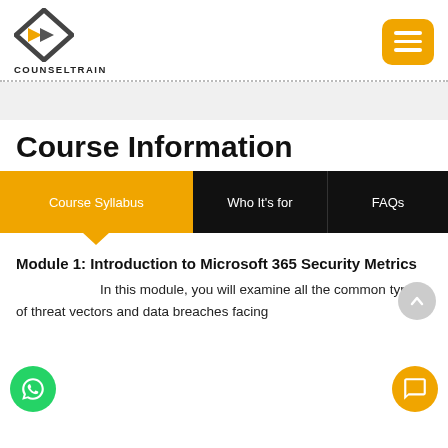[Figure (logo): CounselTrain logo: diamond shape with arrow, text COUNSELTRAIN below]
Course Information
Course Syllabus | Who It's for | FAQs
Module 1: Introduction to Microsoft 365 Security Metrics
In this module, you will examine all the common types of threat vectors and data breaches facing